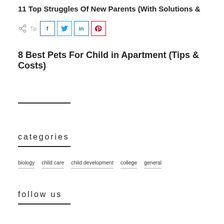11 Top Struggles Of New Parents (With Solutions &
[Figure (other): Social share bar with share icon and buttons: Facebook (f), Twitter bird, LinkedIn (in), Pinterest (p)]
8 Best Pets For Child in Apartment (Tips & Costs)
categories
biology
child care
child development
college
general
follow us